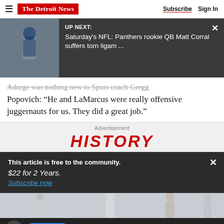The Detroit News | Subscribe  Sign In
[Figure (screenshot): Video overlay panel with dark background showing a Panthers QB Matt Corral photo on left and 'UP NEXT: Saturday's NFL: Panthers rookie QB Matt Corral suffers torn ligam ...' text on right, with X close button]
...urge was nothing new to Spurs coach Gregg Popovich: “He and LaMarcus were really offensive juggernauts for us. They did a great job.”
Advertisement
[Figure (screenshot): Advertisement banner showing 'HISTORY' text in red italic bold letters on light gray background]
This article is free to the community.
$22 for 2 Years.
Subscribe now
[Figure (photo): Golfers standing in a row on a golf course, partial view]
Subscribe  Sign in  [link icon] [comment icon] [share icon]